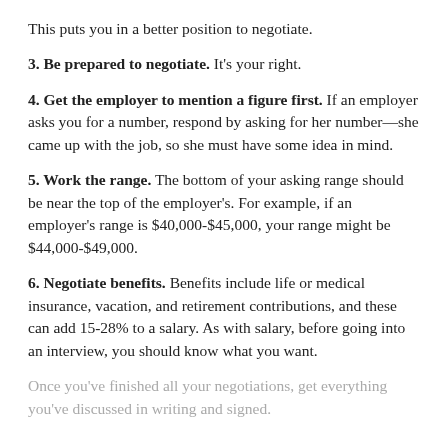This puts you in a better position to negotiate.
3. Be prepared to negotiate. It's your right.
4. Get the employer to mention a figure first. If an employer asks you for a number, respond by asking for her number—she came up with the job, so she must have some idea in mind.
5. Work the range. The bottom of your asking range should be near the top of the employer's. For example, if an employer's range is $40,000-$45,000, your range might be $44,000-$49,000.
6. Negotiate benefits. Benefits include life or medical insurance, vacation, and retirement contributions, and these can add 15-28% to a salary. As with salary, before going into an interview, you should know what you want.
Once you've finished all your negotiations, get everything you've discussed in writing and signed.